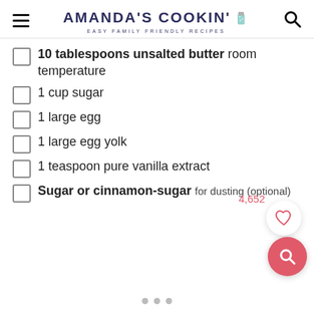AMANDA'S COOKIN' — EASY FAMILY FRIENDLY RECIPES
10 tablespoons unsalted butter room temperature
1 cup sugar
1 large egg
1 large egg yolk
1 teaspoon pure vanilla extract
Sugar or cinnamon-sugar for dusting (optional)